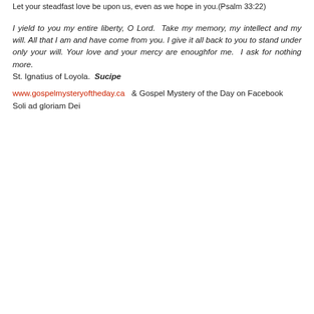Let your steadfast love be upon us, even as we hope in you.(Psalm 33:22)
I yield to you my entire liberty, O Lord.  Take my memory, my intellect and my will. All that I am and have come from you. I give it all back to you to stand under only your will. Your love and your mercy are enoughfor me.  I ask for nothing more.
St. Ignatius of Loyola.  Sucipe
www.gospelmysteryoftheday.ca  & Gospel Mystery of the Day on Facebook
Soli ad gloriam Dei